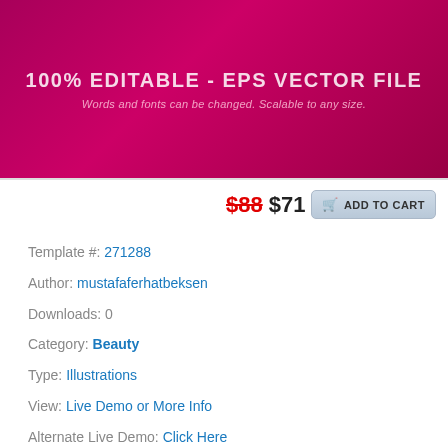[Figure (illustration): Dark magenta/crimson gradient banner with bold text '100% EDITABLE - EPS VECTOR FILE' and italic subtitle 'Words and fonts can be changed. Scalable to any size.']
$88 $71  ADD TO CART
Template #: 271288
Author: mustafaferhatbeksen
Downloads: 0
Category: Beauty
Type: Illustrations
View: Live Demo or More Info
Alternate Live Demo: Click Here
[Figure (illustration): Blue gradient banner showing 'Vector TEXT EFFECT' in stylized text, with a Live Chat bar at the bottom right]